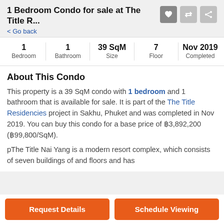1 Bedroom Condo for sale at The Title R...
< Go back
|  |  |  |  |  |
| --- | --- | --- | --- | --- |
| 1 | 1 | 39 SqM | 7 | Nov 2019 |
| Bedroom | Bathroom | Size | Floor | Completed |
About This Condo
This property is a 39 SqM condo with 1 bedroom and 1 bathroom that is available for sale. It is part of the The Title Residencies project in Sakhu, Phuket and was completed in Nov 2019. You can buy this condo for a base price of ฿3,892,200 (฿99,800/SqM).
pThe Title Nai Yang is a modern resort complex, which consists of seven buildings of and floors and has
Request Details
Schedule Viewing